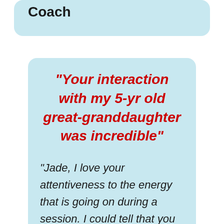Coach
“Your interaction with my 5-yr old great-granddaughter was incredible”
“Jade, I love your attentiveness to the energy that is going on during a session. I could tell that you were not just going through